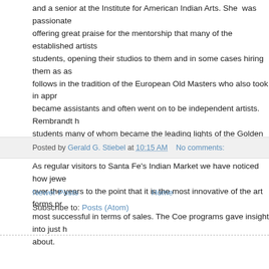and a senior at the Institute for American Indian Arts. She was passionate offering great praise for the mentorship that many of the established artists students, opening their studios to them and in some cases hiring them as as follows in the tradition of the European Old Masters who also took in appr became assistants and often went on to be independent artists. Rembrandt h students many of whom became the leading lights of the Golden Age of Pa
As regular visitors to Santa Fe's Indian Market we have noticed how jewe over the years to the point that it is the most innovative of the art forms pr most successful in terms of sales. The Coe programs gave insight into just h about.
Posted by Gerald G. Stiebel at 10:15 AM    No comments:
Newer Posts · · · · · · · · · · Home · · · · · · · ·
Subscribe to: Posts (Atom)